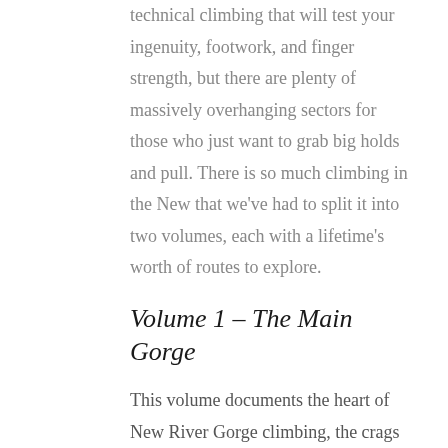technical climbing that will test your ingenuity, footwork, and finger strength, but there are plenty of massively overhanging sectors for those who just want to grab big holds and pull. There is so much climbing in the New that we've had to split it into two volumes, each with a lifetime's worth of routes to explore.
Volume 1 – The Main Gorge
This volume documents the heart of New River Gorge climbing, the crags of the main gorge. You'll find all the beta for more than 1900 climbing routes on the immaculate sandstone walls of this beautiful river